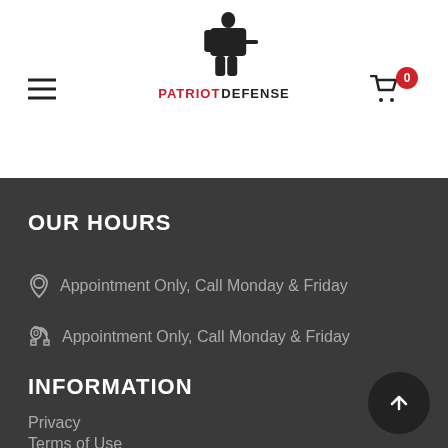Patriot Defense - navigation header with hamburger menu, logo, and cart
OUR HOURS
Appointment Only, Call Monday & Friday
Appointment Only, Call Monday & Friday
INFORMATION
Privacy
Terms of Use
Contact Us